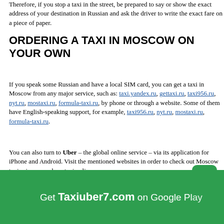Therefore, if you stop a taxi in the street, be prepared to say or show the exact address of your destination in Russian and ask the driver to write the exact fare on a piece of paper.
ORDERING A TAXI IN MOSCOW ON YOUR OWN
If you speak some Russian and have a local SIM card, you can get a taxi in Moscow from any major service, such as: taxi.yandex.ru, gettaxi.ru, taxi956.ru, nyt.ru, mostaxi.ru, formula-taxi.ru, by phone or through a website. Some of them have English-speaking support, for example, taxi956.ru, nyt.ru, mostaxi.ru, formula-taxi.ru.
You can also turn to Uber – the global online service – via its application for iPhone and Android. Visit the mentioned websites in order to check out Moscow taxi prices or order a taxi online.
👁 2553
Find Contacts
Getcontact premium apk
on Google Play e than
3.5 Billion phone numbers
Get Taxiuber7.com on Google Play